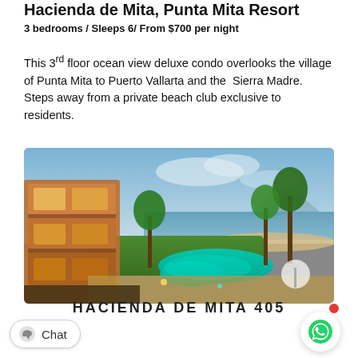Hacienda de Mita, Punta Mita Resort
3 bedrooms / Sleeps 6 / From $700 per night
This 3rd floor ocean view deluxe condo overlooks the village of Punta Mita to Puerto Vallarta and the Sierra Madre. Steps away from a private beach club exclusive to residents.
[Figure (photo): Aerial/elevated view of Hacienda de Mita resort at dusk showing illuminated multi-story building on left, palm trees, curved pool with turquoise water, sandy beach, and ocean with mountains in background under blue sky.]
HACIENDA DE MITA 405
Chat